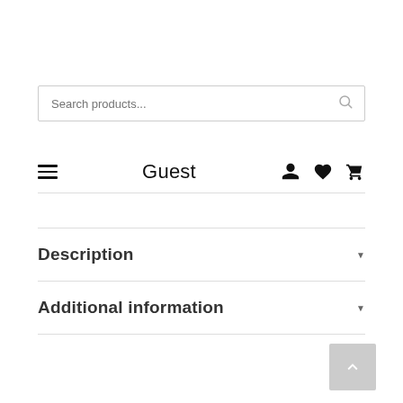[Figure (screenshot): Search bar with placeholder text 'Search products...' and a search icon on the right]
Guest
Description
Additional information